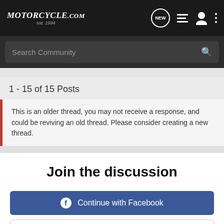Motorcycle.com est. 1994
Search Community
1 - 15 of 15 Posts
This is an older thread, you may not receive a response, and could be reviving an old thread. Please consider creating a new thread.
Join the discussion
Continue with Facebook
Continue with Google